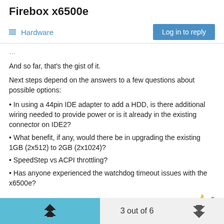Firebox x6500e
Hardware
And so far, that's the gist of it.
Next steps depend on the answers to a few questions about possible options:
In using a 44pin IDE adapter to add a HDD, is there additional wiring needed to provide power or is it already in the existing connector on IDE2?
What benefit, if any, would there be in upgrading the existing 1GB (2x512) to 2GB (2x1024)?
SpeedStep vs ACPI throttling?
Has anyone experienced the watchdog timeout issues with the x6500e?
3 out of 6